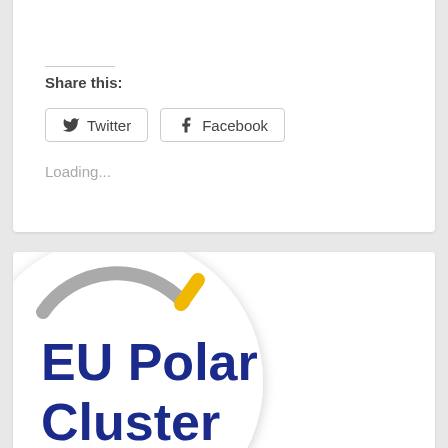Share this:
[Figure (other): Twitter share button]
[Figure (other): Facebook share button]
Loading...
[Figure (logo): EU Polar Cluster logo — circular logo with grey arc and yellow accent, bold dark blue text reading 'EU Polar Cluster']